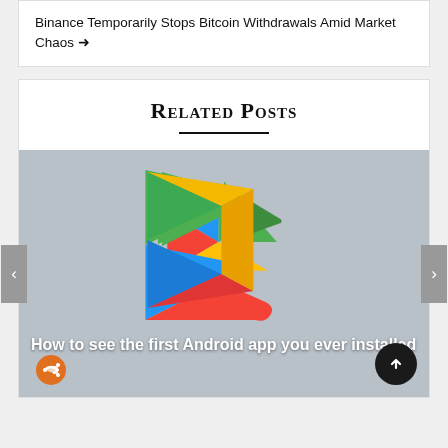Binance Temporarily Stops Bitcoin Withdrawals Amid Market Chaos →
Related Posts
[Figure (screenshot): Google Play Store logo (colorful triangle: green top, blue left, yellow-orange right, red bottom) on a grey background, with caption 'How to see the first Android app you ever installed' and a share icon, plus left/right carousel navigation arrows and a scroll-to-top button.]